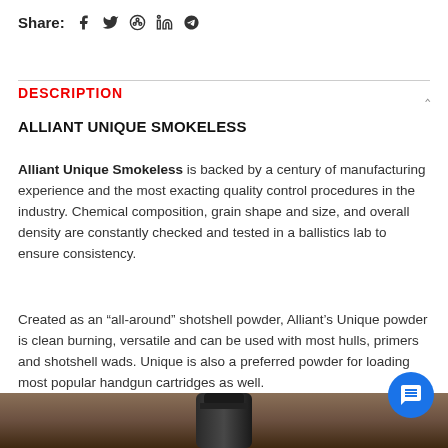Share:  f  Twitter  Pinterest  in  Telegram
DESCRIPTION
ALLIANT UNIQUE SMOKELESS
Alliant Unique Smokeless is backed by a century of manufacturing experience and the most exacting quality control procedures in the industry. Chemical composition, grain shape and size, and overall density are constantly checked and tested in a ballistics lab to ensure consistency.
Created as an “all-around” shotshell powder, Alliant’s Unique powder is clean burning, versatile and can be used with most hulls, primers and shotshell wads. Unique is also a preferred powder for loading most popular handgun cartridges as well.
[Figure (photo): Bottom portion of a black canister/bottle of Alliant Unique Smokeless powder on a wooden surface]